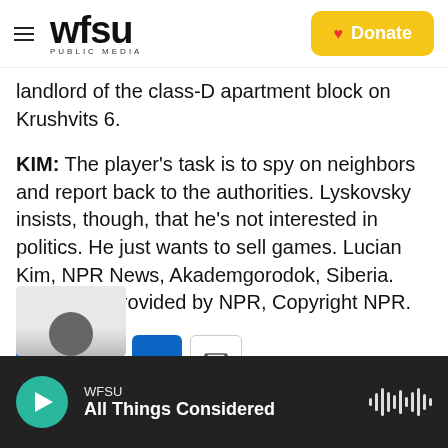WFSU PUBLIC MEDIA | Donate
landlord of the class-D apartment block on Krushvits 6.
KIM: The player's task is to spy on neighbors and report back to the authorities. Lyskovsky insists, though, that he's not interested in politics. He just wants to sell games. Lucian Kim, NPR News, Akademgorodok, Siberia. Transcript provided by NPR, Copyright NPR.
[Figure (other): Social share buttons: Facebook, Twitter, LinkedIn, Email]
[Figure (photo): Partially visible thumbnail image at bottom left]
WFSU — All Things Considered (audio player with play button and waveform icon)